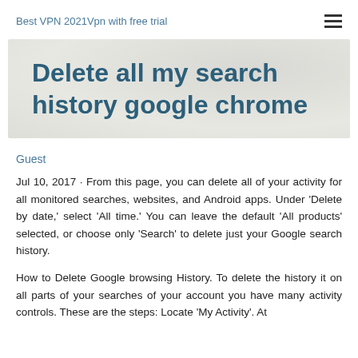Best VPN 2021Vpn with free trial
Delete all my search history google chrome
Guest
Jul 10, 2017 · From this page, you can delete all of your activity for all monitored searches, websites, and Android apps. Under 'Delete by date,' select 'All time.' You can leave the default 'All products' selected, or choose only 'Search' to delete just your Google search history.
How to Delete Google browsing History. To delete the history it on all parts of your searches of your account you have many activity controls. These are the steps: Locate 'My Activity'. At